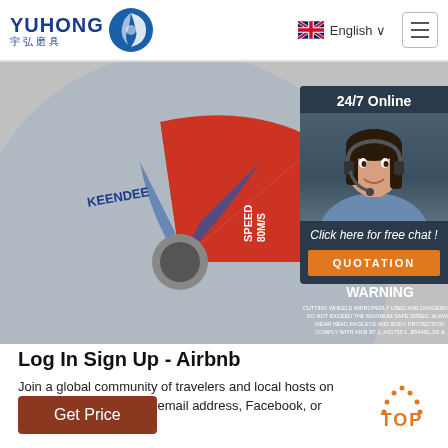YUHONG 宇弘磨具 | English | Navigation
[Figure (photo): Cutting wheel/grinding disc product photo with KEENDEE brand label showing WARNING text, SPEED 80M/S, with barcode. Red and blue disc design.]
[Figure (photo): 24/7 Online customer service chat widget with photo of female agent wearing headset, 'Click here for free chat!' text, and QUOTATION orange button.]
Log In Sign Up - Airbnb
Join a global community of travelers and local hosts on Airbnb. Log in with your email address, Facebook, or Google.
[Figure (other): Get Price button - brown/rust colored rectangular button]
[Figure (other): TOP navigation button with dotted arc and orange text]